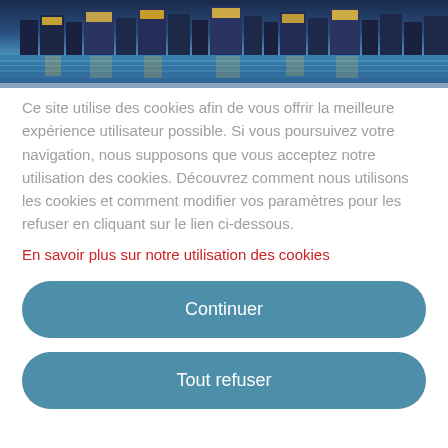[Figure (photo): Aerial/waterfront photo of a city harbor at dusk with illuminated buildings and blue water reflections]
Ce site utilise des cookies afin de vous offrir la meilleure expérience utilisateur possible. Si vous poursuivez votre navigation, nous supposons que vous acceptez notre utilisation des cookies. Découvrez comment nous utilisons les cookies et comment modifier vos paramètres pour les refuser en cliquant sur le lien ci-dessous.
En savoir plus sur notre utilisation des cookies
Continuer
Tout refuser